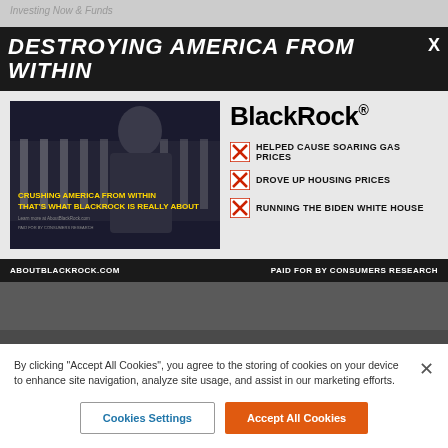DESTROYING AMERICA FROM WITHIN
[Figure (screenshot): Video thumbnail showing a man in front of the White House with text 'CRUSHING AMERICA FROM WITHIN THAT'S WHAT BLACKROCK IS REALLY ABOUT' and a 'WATCH THE AD NOW' button]
BlackRock®
HELPED CAUSE SOARING GAS PRICES
DROVE UP HOUSING PRICES
RUNNING THE BIDEN WHITE HOUSE
ABOUTBLACKROCK.COM    PAID FOR BY CONSUMERS RESEARCH
By clicking "Accept All Cookies", you agree to the storing of cookies on your device to enhance site navigation, analyze site usage, and assist in our marketing efforts.
Cookies Settings    Accept All Cookies